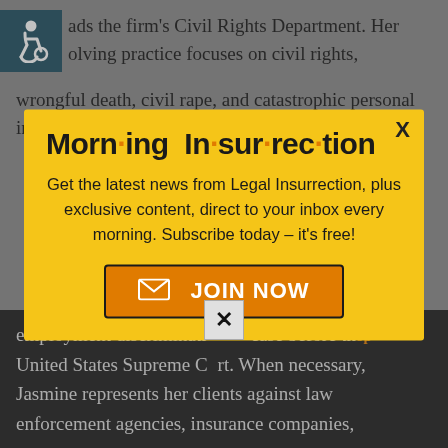ads the firm's Civil Rights Department. Her olving practice focuses on civil rights, wrongful death, civil rape, and catastrophic personal injury. Notable representations
[Figure (infographic): Morning Insurrection newsletter popup modal with yellow background. Contains title 'Morn·ing In·sur·rec·tion' in bold black with orange dots, subtitle text about subscribing, and orange JOIN NOW button with envelope icon. Close X button in top right.]
employment discrimination case before the United States Supreme Court. When necessary, Jasmine represents her clients against law enforcement agencies, insurance companies,